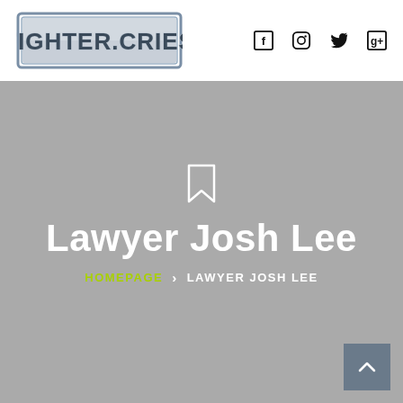[Figure (logo): Fighter Cries logo — metallic text in a rectangular border with blue tones]
[Figure (infographic): Social media icons: Facebook, Instagram, Twitter, Google+]
Lawyer Josh Lee
HOMEPAGE > LAWYER JOSH LEE